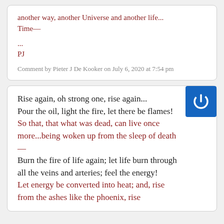another way, another Universe and another life...
Time—

...
PJ
Comment by Pieter J De Kooker on July 6, 2020 at 7:54 pm
Rise again, oh strong one, rise again...
Pour the oil, light the fire, let there be flames!
So that, that what was dead, can live once more...being woken up from the sleep of death—
Burn the fire of life again; let life burn through all the veins and arteries; feel the energy!
Let energy be converted into heat; and, rise from the ashes like the phoenix, rise